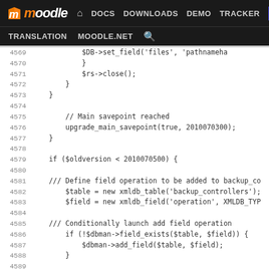[Figure (screenshot): Moodle developer documentation website navigation bar with logo, nav links (DOCS, DOWNLOADS, DEMO, TRACKER, DEV highlighted in blue), and secondary nav (TRANSLATION, MOODLE.NET, search icon)]
Code viewer showing PHP upgrade script lines 4569-4594 including set_field, close, savepoint, xmldb_table, xmldb_field, field_exists, add_field operations